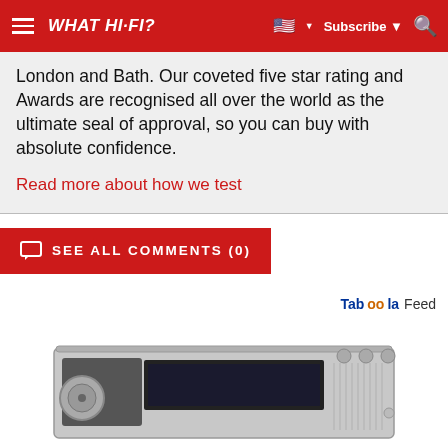WHAT HI-FI?   Subscribe
London and Bath. Our coveted five star rating and Awards are recognised all over the world as the ultimate seal of approval, so you can buy with absolute confidence.
Read more about how we test
SEE ALL COMMENTS (0)
[Figure (logo): Taboola Feed logo]
[Figure (photo): Silver hi-fi amplifier/receiver device, bottom portion visible]